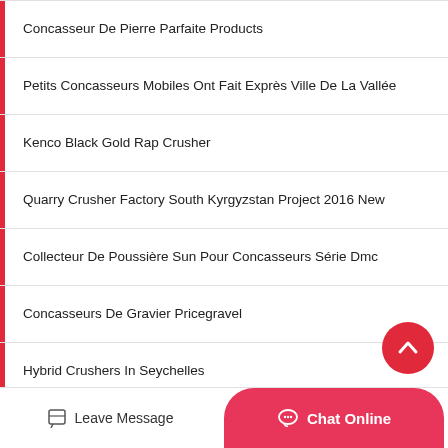Concasseur De Pierre Parfaite Products
Petits Concasseurs Mobiles Ont Fait Exprès Ville De La Vallée
Kenco Black Gold Rap Crusher
Quarry Crusher Factory South Kyrgyzstan Project 2016 New
Collecteur De Poussière Sun Pour Concasseurs Série Dmc
Concasseurs De Gravier Pricegravel
Hybrid Crushers In Seychelles
Plantes De Concasseur Agrégées Luzon Carte